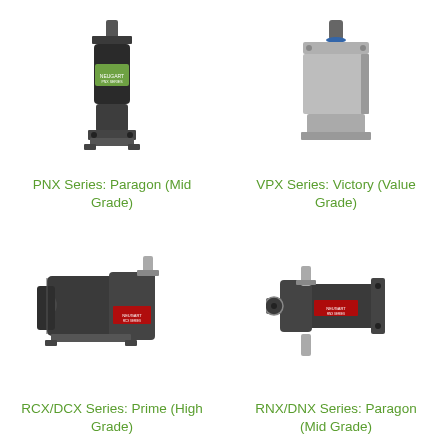[Figure (photo): PNX Series planetary gearbox motor, cylindrical body with green label, vertical shaft output, mounting flange at bottom]
PNX Series: Paragon (Mid Grade)
[Figure (photo): VPX Series planetary gearbox, square silver/grey metal housing, vertical shaft output on top]
VPX Series: Victory (Value Grade)
[Figure (photo): RCX/DCX Series right-angle planetary gearbox, dark grey body, horizontal output shaft with keyway, large right-angle housing]
RCX/DCX Series: Prime (High Grade)
[Figure (photo): RNX/DNX Series right-angle planetary gearbox, compact dark grey body with hollow bore and output shaft, label on side]
RNX/DNX Series: Paragon (Mid Grade)